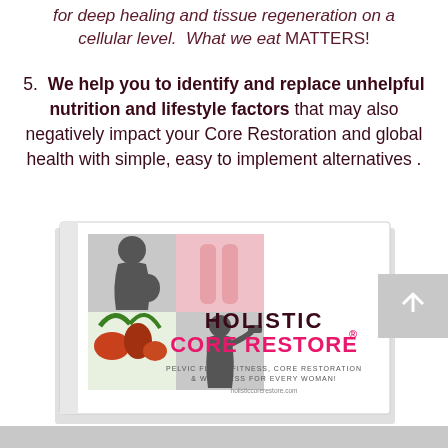for deep healing and tissue regeneration on a cellular level.  What we eat MATTERS!
5.  We help you to identify and replace unhelpful nutrition and lifestyle factors that may also negatively impact your Core Restoration and global health with simple, easy to implement alternatives .
[Figure (photo): Book cover of Holistic Core Restore — shows silhouette of pregnant woman, woman's legs in pink, vegetables, and woman with dumbbell. Text reads: HOLISTIC CORE RESTORE® — PELVIC FLOOR FITNESS, CORE RESTORATION & WELLNESS FOR EVERY WOMAN! holisticcorerestore.com]